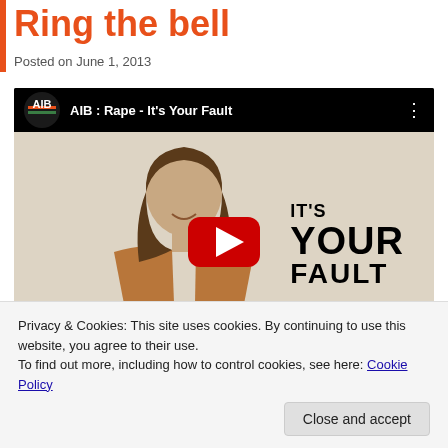Ring the bell
Posted on June 1, 2013
[Figure (screenshot): YouTube video thumbnail showing AIB: Rape - It's Your Fault video, with a woman smiling and text 'IT'S YOUR FAULT' on the right side, red play button in center]
Privacy & Cookies: This site uses cookies. By continuing to use this website, you agree to their use.
To find out more, including how to control cookies, see here: Cookie Policy
Close and accept